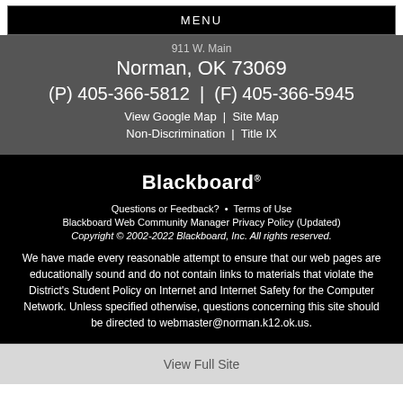MENU
911 W. Main
Norman, OK 73069
(P) 405-366-5812  |  (F) 405-366-5945
View Google Map  |  Site Map
Non-Discrimination  |  Title IX
Blackboard
Questions or Feedback?  •  Terms of Use
Blackboard Web Community Manager Privacy Policy (Updated)
Copyright © 2002-2022 Blackboard, Inc. All rights reserved.
We have made every reasonable attempt to ensure that our web pages are educationally sound and do not contain links to materials that violate the District's Student Policy on Internet and Internet Safety for the Computer Network. Unless specified otherwise, questions concerning this site should be directed to webmaster@norman.k12.ok.us.
View Full Site